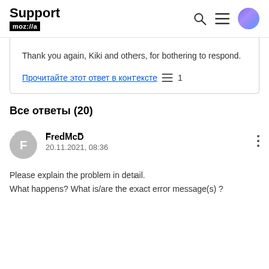Support moz://a
Thank you again, Kiki and others, for bothering to respond.
Прочитайте этот ответ в контексте ≡ 1
Все ответы (20)
FredMcD
20.11.2021, 08:36
Please explain the problem in detail.
What happens? What is/are the exact error message(s) ?